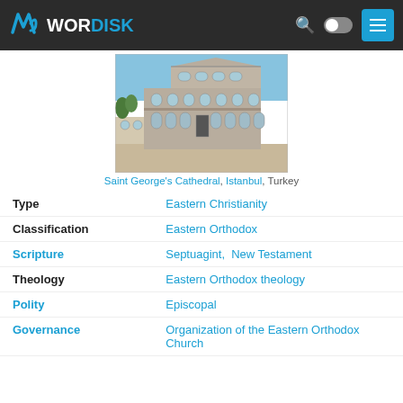WORDISK
[Figure (photo): Saint George's Cathedral, Istanbul, Turkey — a neoclassical stone building with arched windows and a triangular pediment]
Saint George's Cathedral, Istanbul, Turkey
| Field | Value |
| --- | --- |
| Type | Eastern Christianity |
| Classification | Eastern Orthodox |
| Scripture | Septuagint, New Testament |
| Theology | Eastern Orthodox theology |
| Polity | Episcopal |
| Governance | Organization of the Eastern Orthodox Church |